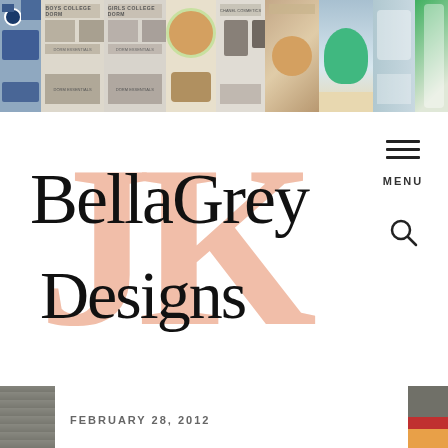[Figure (photo): Header strip of product and lifestyle photos: denim items, college apparel, jewelry/accessories on plates, bags/shoes, person with sunglasses at beach, woman in teal swimsuit, beach scene with boats, towel closeup]
[Figure (logo): BellaGrey Designs logo — cursive black script 'BellaGrey Designs' overlaid on large light salmon/pink 'JK' block letters]
MENU
FEBRUARY 28, 2012